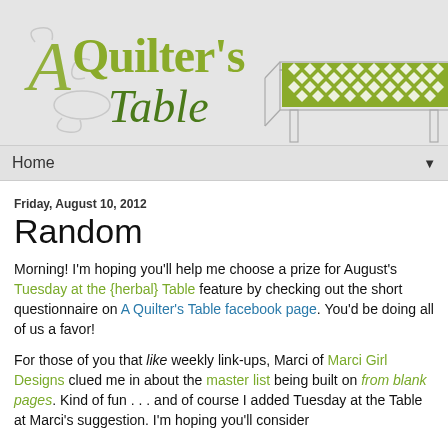[Figure (illustration): A Quilter's Table blog header with stylized green cursive/script logo text and a table with a quilt pattern runner on the right side, against a light gray background.]
Home ▼
Friday, August 10, 2012
Random
Morning! I'm hoping you'll help me choose a prize for August's Tuesday at the {herbal} Table feature by checking out the short questionnaire on A Quilter's Table facebook page. You'd be doing all of us a favor!
For those of you that like weekly link-ups, Marci of Marci Girl Designs clued me in about the master list being built on from blank pages. Kind of fun . . . and of course I added Tuesday at the Table at Marci's suggestion. I'm hoping you'll consider